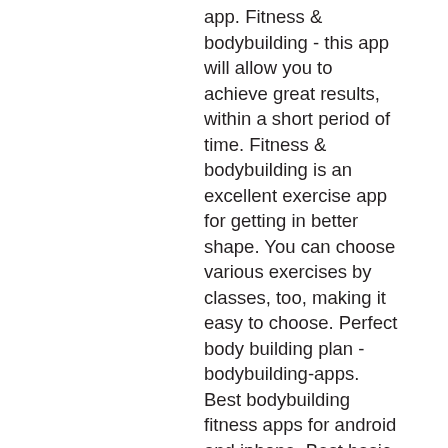app. Fitness &amp; bodybuilding - this app will allow you to achieve great results, within a short period of time. Fitness &amp; bodybuilding is an excellent exercise app for getting in better shape. You can choose various exercises by classes, too, making it easy to choose. Perfect body building plan - bodybuilding-apps. Best bodybuilding fitness apps for android and iphone. Best basic workout app for ios: heavyset · best android workout tracker for.  Vgfit helps you to stay active and train better with fitness motivation and guidance. Fitness &amp; bodybuilding pro. Profit personal workout plan. Top 10 bodybuilding apps in 2021 ; fitness 22. 7 ; home workout - no equipment. Top pcmac reviews · similar apps in health &amp; fitness · more apps from the developer. Create awesome pic for in six pack body using our best body building app. Whether you're looking to track your progress or get some inane. try these best workout apps - all